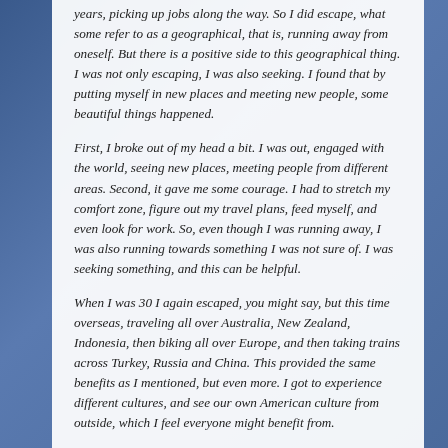years, picking up jobs along the way. So I did escape, what some refer to as a geographical, that is, running away from oneself. But there is a positive side to this geographical thing. I was not only escaping, I was also seeking. I found that by putting myself in new places and meeting new people, some beautiful things happened.
First, I broke out of my head a bit. I was out, engaged with the world, seeing new places, meeting people from different areas. Second, it gave me some courage. I had to stretch my comfort zone, figure out my travel plans, feed myself, and even look for work. So, even though I was running away, I was also running towards something I was not sure of. I was seeking something, and this can be helpful.
When I was 30 I again escaped, you might say, but this time overseas, traveling all over Australia, New Zealand, Indonesia, then biking all over Europe, and then taking trains across Turkey, Russia and China. This provided the same benefits as I mentioned, but even more. I got to experience different cultures, and see our own American culture from outside, which I feel everyone might benefit from.